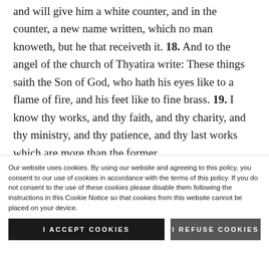and will give him a white counter, and in the counter, a new name written, which no man knoweth, but he that receiveth it. 18. And to the angel of the church of Thyatira write: These things saith the Son of God, who hath his eyes like to a flame of fire, and his feet like to fine brass. 19. I know thy works, and thy faith, and thy charity, and thy ministry, and thy patience, and thy last works which are more than the former.
Our website uses cookies. By using our website and agreeing to this policy, you consent to our use of cookies in accordance with the terms of this policy. If you do not consent to the use of these cookies please disable them following the instructions in this Cookie Notice so that cookies from this website cannot be placed on your device.
I ACCEPT COOKIES
I REFUSE COOKIES